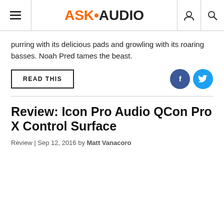ASK•AUDIO
purring with its delicious pads and growling with its roaring basses. Noah Pred tames the beast.
READ THIS
Review: Icon Pro Audio QCon Pro X Control Surface
Review | Sep 12, 2016 by Matt Vanacoro